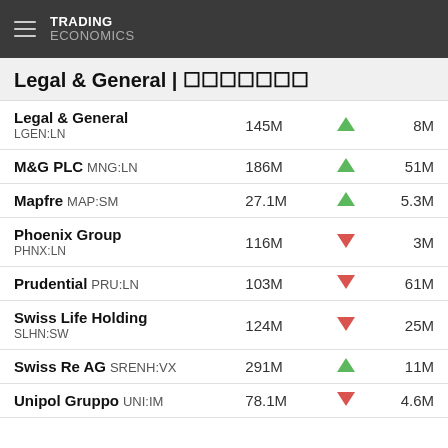TRADING ECONOMICS
Legal & General | 🟫🟫🟫🟫🟫🟫🟫
| Company | Volume | Direction | Change |
| --- | --- | --- | --- |
| Legal & General LGEN:LN | 145M | ▲ | 8M |
| M&G PLC MNG:LN | 186M | ▲ | 51M |
| Mapfre MAP:SM | 27.1M | ▲ | 5.3M |
| Phoenix Group PHNX:LN | 116M | ▼ | 3M |
| Prudential PRU:LN | 103M | ▼ | 61M |
| Swiss Life Holding SLHN:SW | 124M | ▼ | 25M |
| Swiss Re AG SRENH:VX | 291M | ▲ | 11M |
| Unipol Gruppo UNI:IM | 78.1M | ▼ | 4.6M |